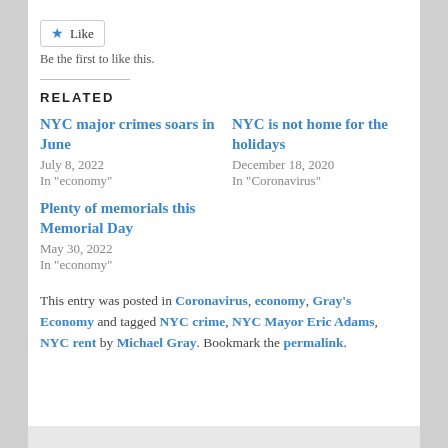[Figure (other): Like button widget with blue star icon and 'Like' text]
Be the first to like this.
RELATED
NYC major crimes soars in June
July 8, 2022
In "economy"
NYC is not home for the holidays
December 18, 2020
In "Coronavirus"
Plenty of memorials this Memorial Day
May 30, 2022
In "economy"
This entry was posted in Coronavirus, economy, Gray's Economy and tagged NYC crime, NYC Mayor Eric Adams, NYC rent by Michael Gray. Bookmark the permalink.